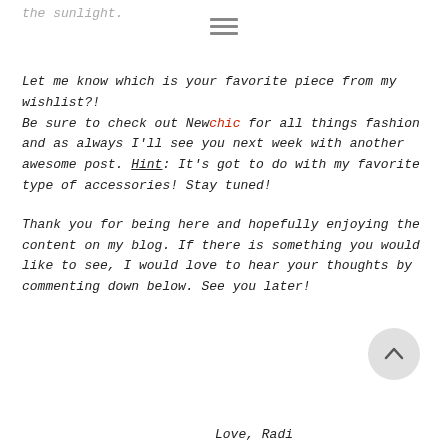the sunlight.
Let me know which is your favorite piece from my wishlist?! Be sure to check out Newchic for all things fashion and as always I'll see you next week with another awesome post. Hint: It's got to do with my favorite type of accessories! Stay tuned!
Thank you for being here and hopefully enjoying the content on my blog. If there is something you would like to see, I would love to hear your thoughts by commenting down below. See you later!
Love, Radi